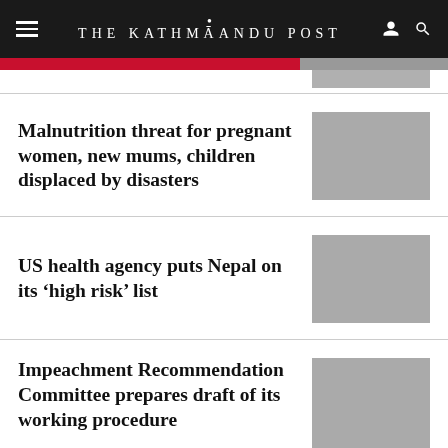THE KATHMANDU POST
Malnutrition threat for pregnant women, new mums, children displaced by disasters
US health agency puts Nepal on its ‘high risk’ list
Impeachment Recommendation Committee prepares draft of its working procedure